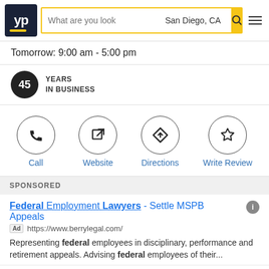[Figure (screenshot): YellowPages (YP) website header with logo, search bar showing 'What are you look' placeholder and 'San Diego, CA' location, yellow search button, and hamburger menu icon]
Tomorrow: 9:00 am - 5:00 pm
45 YEARS IN BUSINESS
Call
Website
Directions
Write Review
SPONSORED
Federal Employment Lawyers - Settle MSPB Appeals
https://www.berrylegal.com/
Representing federal employees in disciplinary, performance and retirement appeals. Advising federal employees of their...
Call (702) 668-0070